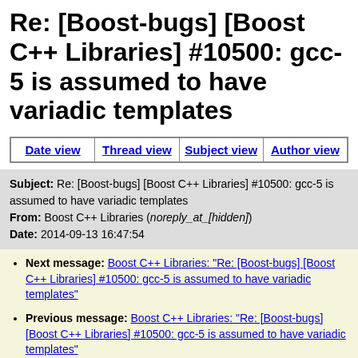Re: [Boost-bugs] [Boost C++ Libraries] #10500: gcc-5 is assumed to have variadic templates
| Date view | Thread view | Subject view | Author view |
| --- | --- | --- | --- |
Subject: Re: [Boost-bugs] [Boost C++ Libraries] #10500: gcc-5 is assumed to have variadic templates
From: Boost C++ Libraries (noreply_at_[hidden])
Date: 2014-09-13 16:47:54
Next message: Boost C++ Libraries: "Re: [Boost-bugs] [Boost C++ Libraries] #10500: gcc-5 is assumed to have variadic templates"
Previous message: Boost C++ Libraries: "Re: [Boost-bugs] [Boost C++ Libraries] #10500: gcc-5 is assumed to have variadic templates"
In reply to: Boost C++ Libraries: "[Boost-bugs] [Boost C++